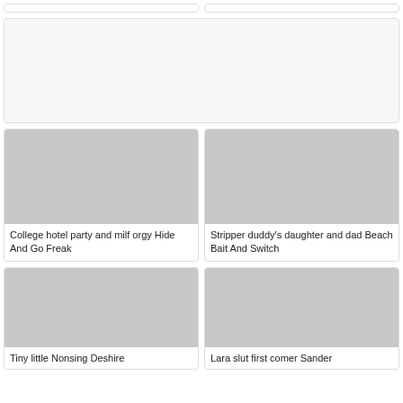[Figure (screenshot): Partial view of two card tops at very top of page]
[Figure (screenshot): Wide placeholder card spanning full width]
[Figure (photo): Photo of woman in gym setting]
College hotel party and milf orgy Hide And Go Freak
[Figure (photo): Photo of two women in hotel room]
Stripper duddy's daughter and dad Beach Bait And Switch
[Figure (photo): Photo — partial bottom view]
Tiny little Nursing Deshire...
[Figure (photo): Close-up photo]
Lara slut first comer Sander...